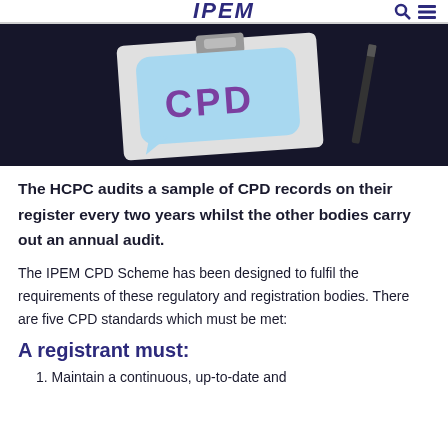IPEM
[Figure (photo): Photo of a clipboard with a light blue speech bubble sticky note reading 'CPD' in purple lettering, on a dark background with a pen visible to the right.]
The HCPC audits a sample of CPD records on their register every two years whilst the other bodies carry out an annual audit.
The IPEM CPD Scheme has been designed to fulfil the requirements of these regulatory and registration bodies. There are five CPD standards which must be met:
A registrant must:
1. Maintain a continuous, up-to-date and